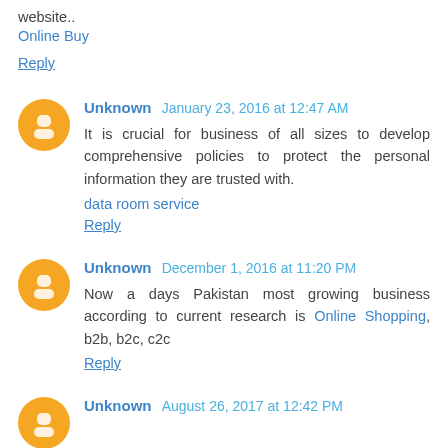website..
Online Buy
Reply
Unknown January 23, 2016 at 12:47 AM
It is crucial for business of all sizes to develop comprehensive policies to protect the personal information they are trusted with.
data room service
Reply
Unknown December 1, 2016 at 11:20 PM
Now a days Pakistan most growing business according to current research is Online Shopping, b2b, b2c, c2c
Reply
Unknown August 26, 2017 at 12:42 PM